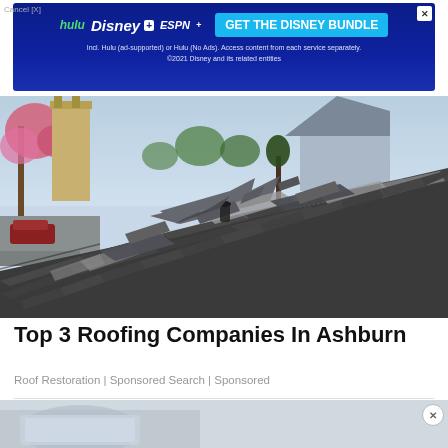[Figure (screenshot): Disney Bundle advertisement banner with Hulu, Disney+, and ESPN+ logos, and a blue background with 'GET THE DISNEY BUNDLE' button]
[Figure (photo): Damaged roof with broken and curled asphalt shingles, a brick chimney on the left, cherry blossom tree and a house in the background]
Top 3 Roofing Companies In Ashburn
Roof Restoration | Sponsored Search | Sponsored
[Figure (screenshot): Second Disney Bundle advertisement banner at the bottom of the page]